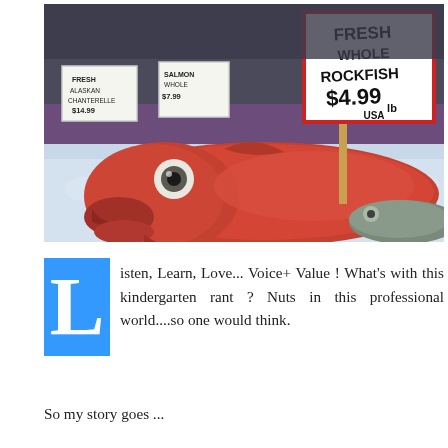[Figure (photo): A fresh whole rockfish on ice at a fish market, with an open mouth and large eye. A price sign reads 'Fresh Whole Rockfish $4.99 lb USA'. Other fish price signs are visible in the background.]
Listen, Learn, Love... Voice+ Value ! What's with this kindergarten rant ? Nuts in this professional world....so one would think.
So my story goes ...